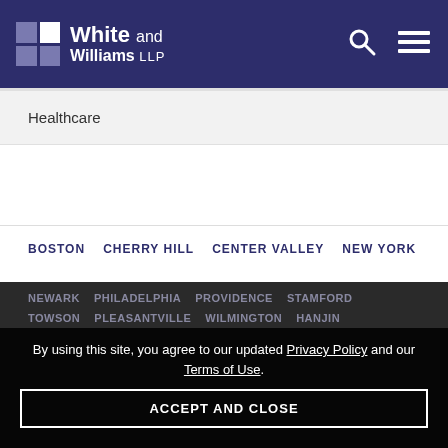[Figure (logo): White and Williams LLP law firm logo with grid icon and firm name in white on dark navy background, with search and menu icons on right]
Healthcare
BOSTON   CHERRY HILL   CENTER VALLEY   NEW YORK   NEWARK   PHILADELPHIA   PROVIDENCE   STAMFORD   TOWSON   PLEASANTVILLE   WILMINGTON   HANJIN
By using this site, you agree to our updated Privacy Policy and our Terms of Use.
ACCEPT AND CLOSE